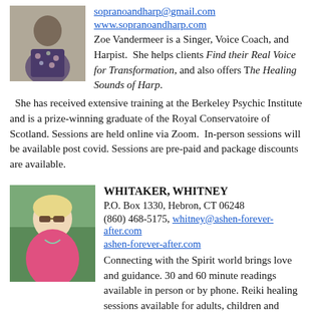[Figure (photo): Portrait photo of Zoe Vandermeer, a woman in a floral dress]
sopranoandharp@gmail.com
www.sopranoandharp.com
Zoe Vandermeer is a Singer, Voice Coach, and Harpist. She helps clients Find their Real Voice for Transformation, and also offers The Healing Sounds of Harp. She has received extensive training at the Berkeley Psychic Institute and is a prize-winning graduate of the Royal Conservatoire of Scotland. Sessions are held online via Zoom. In-person sessions will be available post covid. Sessions are pre-paid and package discounts are available.
[Figure (photo): Portrait photo of Whitney Whitaker, a blonde woman wearing sunglasses and a pink top]
WHITAKER, WHITNEY
P.O. Box 1330, Hebron, CT 06248
(860) 468-5175, whitney@ashen-forever-after.com
ashen-forever-after.com
Connecting with the Spirit world brings love and guidance. 30 and 60 minute readings available in person or by phone. Reiki healing sessions available for adults, children and